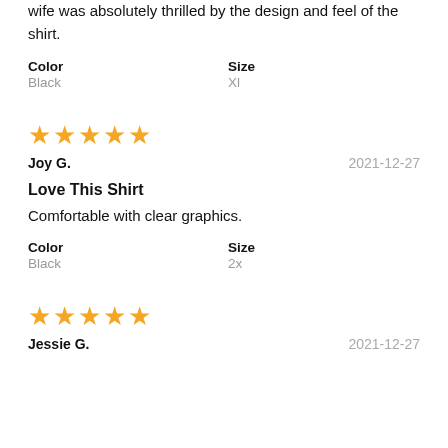wife was absolutely thrilled by the design and feel of the shirt.
| Color | Size |
| --- | --- |
| Black | Xl |
[Figure (other): 5 yellow stars rating]
Joy G.
2021-12-27
Love This Shirt
Comfortable with clear graphics.
| Color | Size |
| --- | --- |
| Black | 2x |
[Figure (other): 5 yellow stars rating]
Jessie G.
2021-12-27